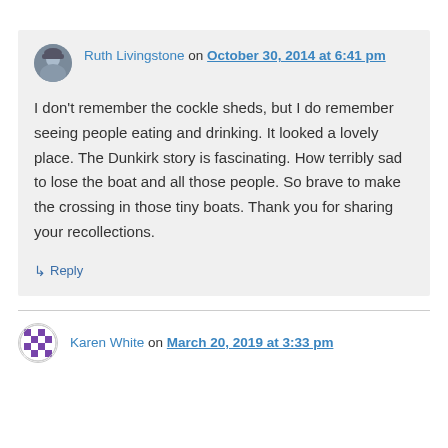Ruth Livingstone on October 30, 2014 at 6:41 pm
I don't remember the cockle sheds, but I do remember seeing people eating and drinking. It looked a lovely place. The Dunkirk story is fascinating. How terribly sad to lose the boat and all those people. So brave to make the crossing in those tiny boats. Thank you for sharing your recollections.
↳ Reply
Karen White on March 20, 2019 at 3:33 pm